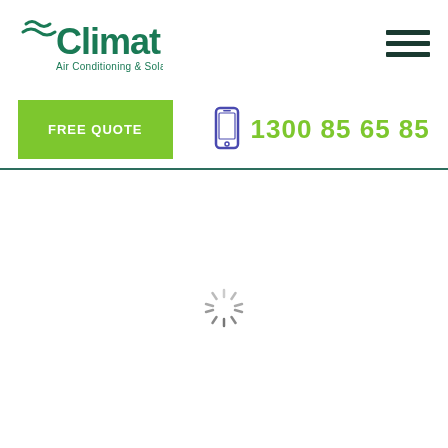[Figure (logo): Climat Air Conditioning & Solar logo with green wave lines and text]
[Figure (other): Hamburger menu icon (three horizontal lines)]
FREE QUOTE
[Figure (other): Phone/mobile icon in purple/blue outline]
1300 85 65 85
[Figure (other): Loading spinner - circular dashed/spoked wheel indicator]